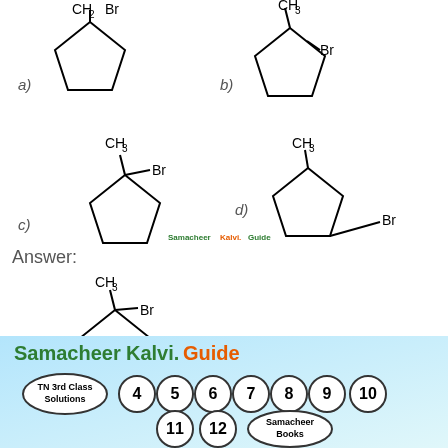[Figure (illustration): Four chemical structure options a), b), c), d) showing cyclopentane derivatives with CH2/CH3 and Br substituents]
Answer:
[Figure (illustration): Answer structure c): cyclopentane with CH3 and Br at same carbon (quaternary carbon)]
[Figure (logo): SamacheerKalvi.Guide footer with navigation circles for classes 4-12 and Samacheer Books]